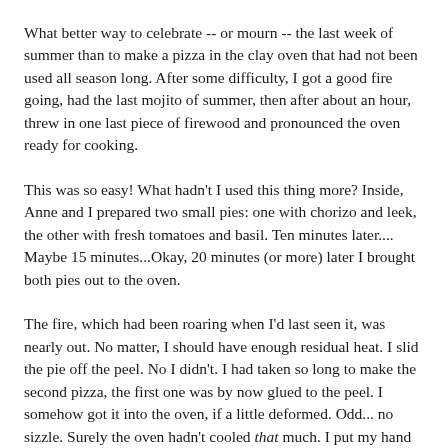What better way to celebrate -- or mourn -- the last week of summer than to make a pizza in the clay oven that had not been used all season long. After some difficulty, I got a good fire going, had the last mojito of summer, then after about an hour, threw in one last piece of firewood and pronounced the oven ready for cooking.
This was so easy! What hadn't I used this thing more? Inside, Anne and I prepared two small pies: one with chorizo and leek, the other with fresh tomatoes and basil. Ten minutes later.... Maybe 15 minutes...Okay, 20 minutes (or more) later I brought both pies out to the oven.
The fire, which had been roaring when I'd last seen it, was nearly out. No matter, I should have enough residual heat. I slid the pie off the peel. No I didn't. I had taken so long to make the second pizza, the first one was by now glued to the peel. I somehow got it into the oven, if a little deformed. Odd... no sizzle. Surely the oven hadn't cooled that much. I put my hand in to test the temp. If you can't keep your hand in for a count of 3 the oven's ready -- I could have left in